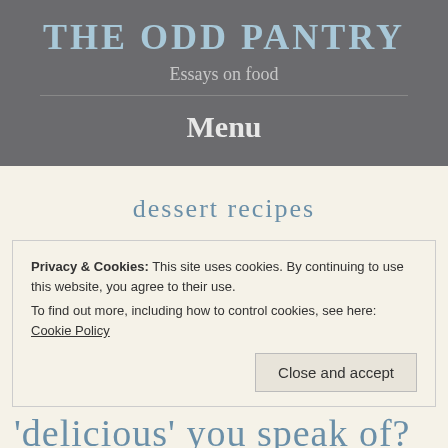THE ODD PANTRY
Essays on food
Menu
dessert recipes
Privacy & Cookies: This site uses cookies. By continuing to use this website, you agree to their use.
To find out more, including how to control cookies, see here: Cookie Policy
Close and accept
'delicious' you speak of?